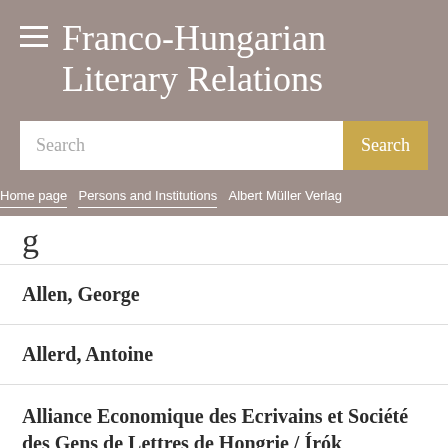Franco-Hungarian Literary Relations
[Figure (screenshot): Search bar with text input field and gold Search button]
Home page > Persons and Institutions > Albert Müller Verlag
Allen, George
Allerd, Antoine
Alliance Economique des Ecrivains et Société des Gens de Lettres de Hongrie / Írók Gazdasági Egyesülete